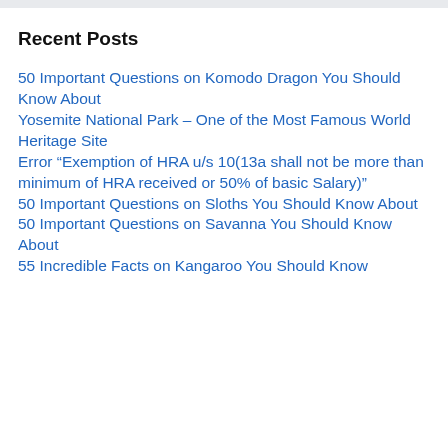Recent Posts
50 Important Questions on Komodo Dragon You Should Know About
Yosemite National Park – One of the Most Famous World Heritage Site
Error “Exemption of HRA u/s 10(13a shall not be more than minimum of HRA received or 50% of basic Salary)”
50 Important Questions on Sloths You Should Know About
50 Important Questions on Savanna You Should Know About
55 Incredible Facts on Kangaroo You Should Know